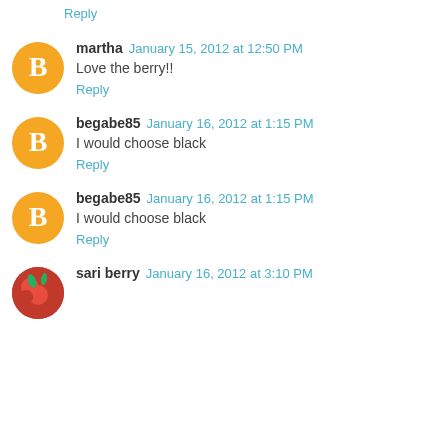Reply
martha  January 15, 2012 at 12:50 PM
Love the berry!!
Reply
begabe85  January 16, 2012 at 1:15 PM
I would choose black
Reply
begabe85  January 16, 2012 at 1:15 PM
I would choose black
Reply
sari berry  January 16, 2012 at 3:10 PM